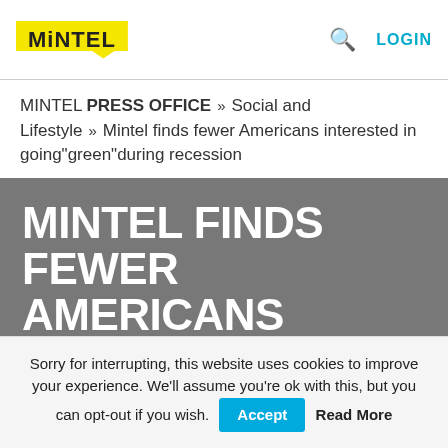MINTEL [logo] | search icon | LOGIN
MINTEL PRESS OFFICE » Social and Lifestyle » Mintel finds fewer Americans interested in going"green"during recession
MINTEL FINDS FEWER AMERICANS INTERESTED IN GOING"GREEN"DURING RECESSION
Sorry for interrupting, this website uses cookies to improve your experience. We'll assume you're ok with this, but you can opt-out if you wish. Accept  Read More